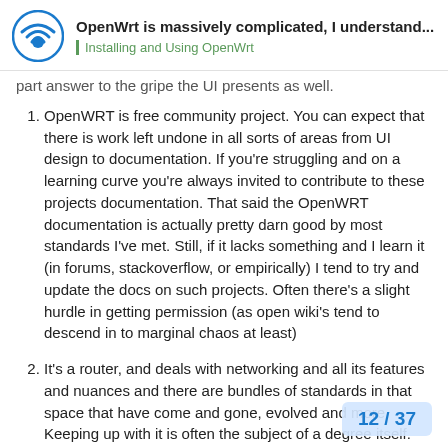OpenWrt is massively complicated, I understand... | Installing and Using OpenWrt
part answer to the gripe the UI presents as well.
OpenWRT is free community project. You can expect that there is work left undone in all sorts of areas from UI design to documentation. If you're struggling and on a learning curve you're always invited to contribute to these projects documentation. That said the OpenWRT documentation is actually pretty darn good by most standards I've met. Still, if it lacks something and I learn it (in forums, stackoverflow, or empirically) I tend to try and update the docs on such projects. Often there's a slight hurdle in getting permission (as open wiki's tend to descend in to marginal chaos at least)
It's a router, and deals with networking and all its features and nuances and there are bundles of standards in that space that have come and gone, evolved and more. Keeping up with it is often the subject of a degree itself. That said a handful of key protocols have become defacto norms (TCP/IP, PPP...
12 / 37